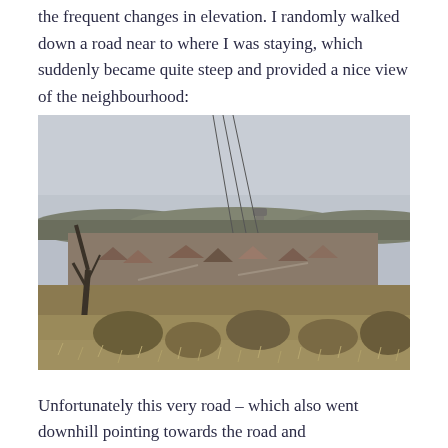the frequent changes in elevation. I randomly walked down a road near to where I was staying, which suddenly became quite steep and provided a nice view of the neighbourhood:
[Figure (photo): Panoramic view from a steep road overlooking a residential neighbourhood with bare winter trees in the foreground, houses scattered across the valley, and an overcast grey sky. Power lines visible in upper portion.]
Unfortunately this very road – which also went downhill pointing towards the road and...